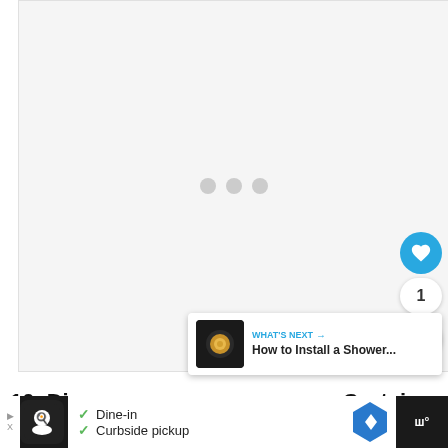[Figure (photo): Light gray placeholder image area with three gray loading dots in the center]
[Figure (infographic): What's Next panel showing a small dark thumbnail with a gold/yellow dish on dark background, label WHAT'S NEXT with arrow, and title text 'How to Install a Shower...']
10. Dish Pan Instead of Shower Curtain
[Figure (infographic): Advertisement bar at bottom with restaurant logo, Dine-in and Curbside pickup options, navigation icon, and brand logo]